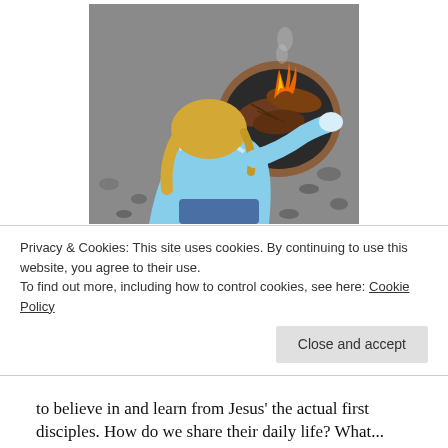[Figure (photo): A young girl with blonde hair wearing a light blue jacket, viewed from behind, reaching toward a clay fire pit or bowl containing logs with fire, on a rocky ground surface.]
Come, Holy Spirit.  Fill the hearts of Your faithful, and enkindle in us the fire of Your Love...
The First Disciples Project is an effort to teach girls ages 8-15 the primitive skills that Mary, Mother of
Privacy & Cookies: This site uses cookies. By continuing to use this website, you agree to their use.
To find out more, including how to control cookies, see here: Cookie Policy
to believe in and learn from Jesus' the actual first disciples. How do we share their daily life? What...